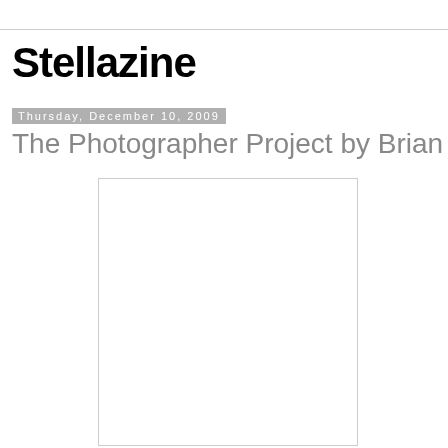Stellazine
Thursday, December 10, 2009
The Photographer Project by Brian Ach
[Figure (photo): Large white/blank photo placeholder box with a light border]